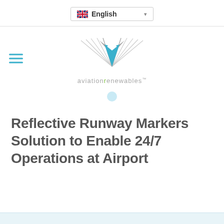English (language selector)
[Figure (logo): Aviation Renewables logo: stylized diamond/chevron shape in blue and grey above text 'aviationrenewables™']
Reflective Runway Markers Solution to Enable 24/7 Operations at Airport